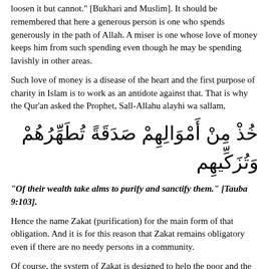loosen it but cannot." [Bukhari and Muslim]. It should be remembered that here a generous person is one who spends generously in the path of Allah. A miser is one whose love of money keeps him from such spending even though he may be spending lavishly in other areas.
Such love of money is a disease of the heart and the first purpose of charity in Islam is to work as an antidote against that. That is why the Qur'an asked the Prophet, Sall-Allahu alayhi wa sallam,
[Figure (other): Arabic calligraphy: Quran verse in large Arabic script]
"Of their wealth take alms to purify and sanctify them." [Tauba 9:103].
Hence the name Zakat (purification) for the main form of that obligation. And it is for this reason that Zakat remains obligatory even if there are no needy persons in a community.
Of course, the system of Zakat is designed to help the poor and the needy and it is a highly desirable characteristic of the believers that in addition to prayers and other acts of worship they are always conscious of this duty.
[Figure (other): Arabic calligraphy: Quran verse in large Arabic script (partial, bottom of page)]